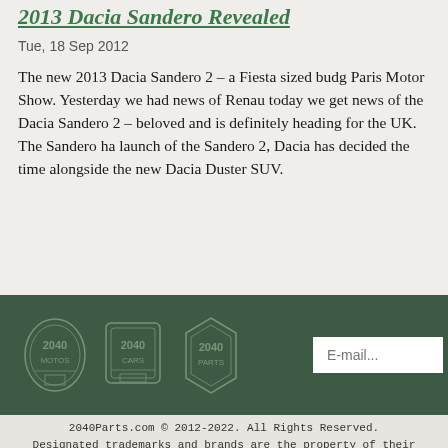2013 Dacia Sandero Revealed
Tue, 18 Sep 2012
The new 2013 Dacia Sandero 2 – a Fiesta sized budg… Paris Motor Show. Yesterday we had news of Renau… today we get news of the Dacia Sandero 2 – beloved… and is definitely heading for the UK. The Sandero ha… launch of the Sandero 2, Dacia has decided the time… alongside the new Dacia Duster SUV.
[Figure (logo): Dark green banner with three 2040 branded logos (2040 Motos, 2040 Cars, 2040 Parts) and an email input field]
2040Parts.com © 2012-2022. All Rights Reserved. Designated trademarks and brands are the property of their respective owners. Use of this Web site constitutes acceptance of the 2040Parts User Agreement and Privacy Policy. 0.038 s, 9826 u